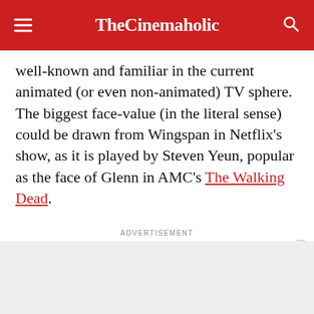TheCinemaholic
well-known and familiar in the current animated (or even non-animated) TV sphere. The biggest face-value (in the literal sense) could be drawn from Wingspan in Netflix's show, as it is played by Steven Yeun, popular as the face of Glenn in AMC's The Walking Dead.
ADVERTISEMENT